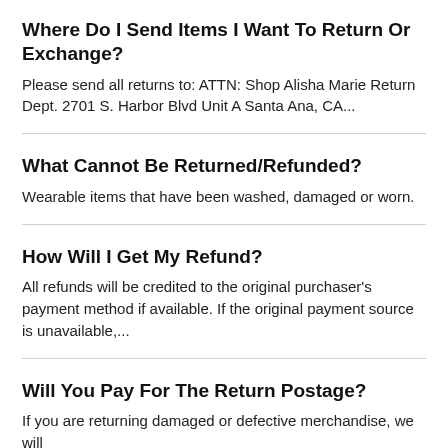Where Do I Send Items I Want To Return Or Exchange?
Please send all returns to: ATTN: Shop Alisha Marie Return Dept. 2701 S. Harbor Blvd Unit A Santa Ana, CA...
What Cannot Be Returned/Refunded?
Wearable items that have been washed, damaged or worn.
How Will I Get My Refund?
All refunds will be credited to the original purchaser's payment method if available. If the original payment source is unavailable,...
Will You Pay For The Return Postage?
If you are returning damaged or defective merchandise, we will